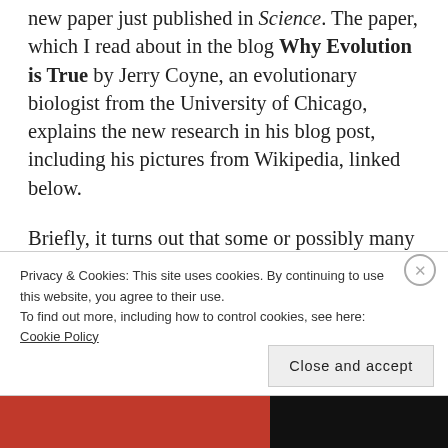new paper just published in Science. The paper, which I read about in the blog Why Evolution is True by Jerry Coyne, an evolutionary biologist from the University of Chicago, explains the new research in his blog post, including his pictures from Wikipedia, linked below.
Briefly, it turns out that some or possibly many lichens are not just a symbiotic relationship between fungus and an algal species, cyanobacteria, but also include a third partner- yeast. This finding will explain why researchers have not been able to grow lichen in
Privacy & Cookies: This site uses cookies. By continuing to use this website, you agree to their use. To find out more, including how to control cookies, see here: Cookie Policy
Close and accept